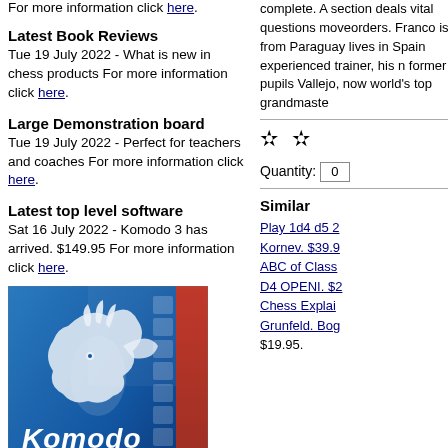For more information click here.
Latest Book Reviews
Tue 19 July 2022 - What is new in chess products For more information click here.
Large Demonstration board
Tue 19 July 2022 - Perfect for teachers and coaches For more information click here.
Latest top level software
Sat 16 July 2022 - Komodo 3 has arrived. $149.95 For more information click here.
[Figure (photo): Komodo Dragon 3 chess software box cover with blue background and dragon logo]
Outdoor Chess Set
complete. A section deals vital questions moveorders. Franco is a from Paraguay lives in Spain experienced trainer, his n former pupils Vallejo, now world's top grandmaste
* *
Quantity: 0
Similar
Play 1d4 d5 2
Kornev. $39.9
ABC of Class
D4 OPENI. $2
Chess Explai
Grunfeld. Bog
$19.95.